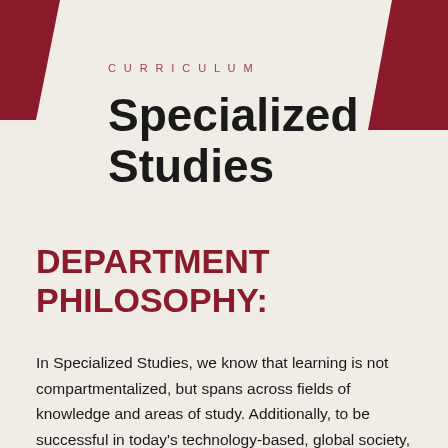CURRICULUM
Specialized Studies
DEPARTMENT PHILOSOPHY:
In Specialized Studies, we know that learning is not compartmentalized, but spans across fields of knowledge and areas of study. Additionally, to be successful in today's technology-based, global society, students must be able to collaborate, engage diverse perspectives, and approach problems with a positive mindset. To address this, the